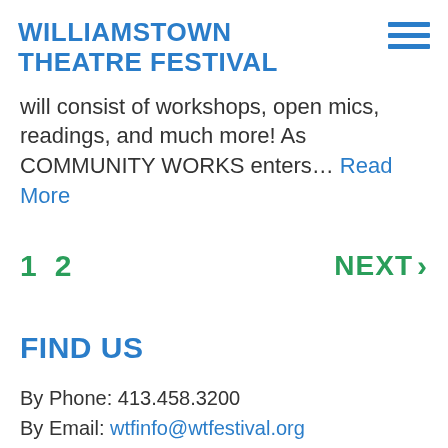WILLIAMSTOWN THEATRE FESTIVAL
will consist of workshops, open mics, readings, and much more! As COMMUNITY WORKS enters... Read More
1  2  NEXT >
FIND US
By Phone: 413.458.3200
By Email: wtfinfo@wtfestival.org